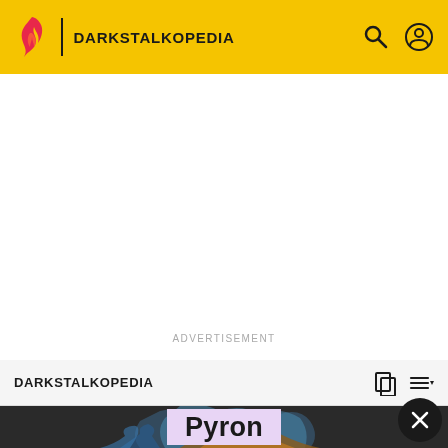DARKSTALKOPEDIA
ADVERTISEMENT
DARKSTALKOPEDIA
Pyron
[Figure (illustration): Darkstalkopedia wiki page screenshot showing the character Pyron with a dark fantasy game art illustration visible at the bottom of the page]